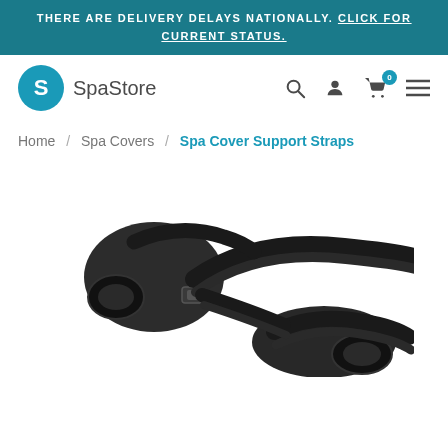THERE ARE DELIVERY DELAYS NATIONALLY. CLICK FOR CURRENT STATUS.
[Figure (logo): SpaStore logo with circular blue icon containing stylized S and text 'SpaStore']
Home / Spa Covers / Spa Cover Support Straps
[Figure (photo): Black spa cover support straps with buckle hardware on white background]